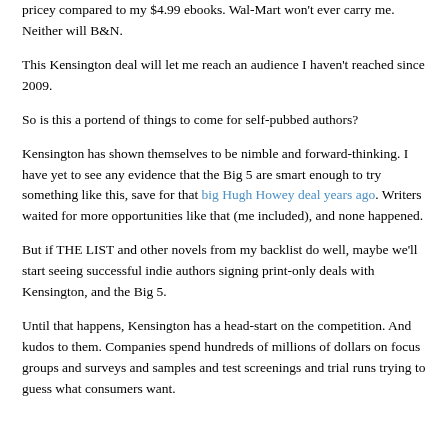pricey compared to my $4.99 ebooks. Wal-Mart won't ever carry me. Neither will B&N.
This Kensington deal will let me reach an audience I haven't reached since 2009.
So is this a portend of things to come for self-pubbed authors?
Kensington has shown themselves to be nimble and forward-thinking. I have yet to see any evidence that the Big 5 are smart enough to try something like this, save for that big Hugh Howey deal years ago. Writers waited for more opportunities like that (me included), and none happened.
But if THE LIST and other novels from my backlist do well, maybe we'll start seeing successful indie authors signing print-only deals with Kensington, and the Big 5.
Until that happens, Kensington has a head-start on the competition. And kudos to them. Companies spend hundreds of millions of dollars on focus groups and surveys and samples and test screenings and trial runs trying to guess what consumers want.